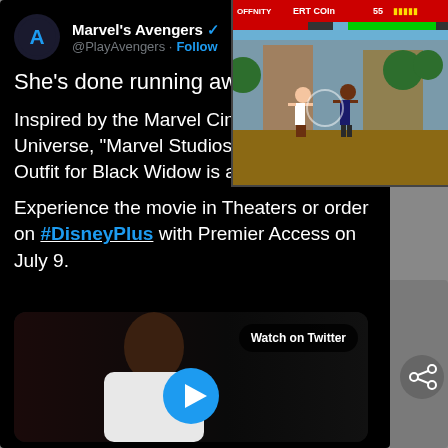[Figure (screenshot): Twitter/X tweet from Marvel's Avengers (@PlayAvengers) with verified badge and Follow button. Tweet text reads: She's done running awa[y] / Inspired by the Marvel Cinematic Universe, "Marvel Studios' Black Widow" Outfit for Black Widow is available now. Experience the movie in Theaters or order on #DisneyPlus with Premier Access on July 9. Includes a video preview thumbnail with Watch on Twitter button and play button. Upper right corner shows a partially visible retro fighting video game screenshot (Mortal Kombat style). A share icon is visible on the right edge.]